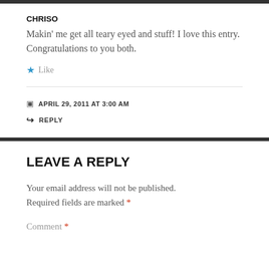CHRISO
Makin' me get all teary eyed and stuff! I love this entry. Congratulations to you both.
★ Like
APRIL 29, 2011 AT 3:00 AM
↪ REPLY
LEAVE A REPLY
Your email address will not be published. Required fields are marked *
Comment *